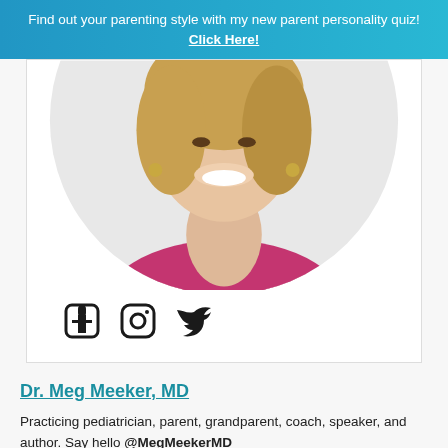Find out your parenting style with my new parent personality quiz! Click Here!
[Figure (photo): Circular cropped headshot photo of Dr. Meg Meeker, a woman with blonde hair wearing a magenta/fuchsia top, smiling]
[Figure (illustration): Social media icons: Facebook, Instagram, Twitter]
Dr. Meg Meeker, MD
Practicing pediatrician, parent, grandparent, coach, speaker, and author. Say hello @MegMeekerMD